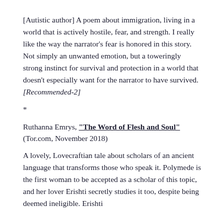[Autistic author] A poem about immigration, living in a world that is actively hostile, fear, and strength. I really like the way the narrator's fear is honored in this story. Not simply an unwanted emotion, but a toweringly strong instinct for survival and protection in a world that doesn't especially want for the narrator to have survived. [Recommended-2]
*
Ruthanna Emrys, "The Word of Flesh and Soul" (Tor.com, November 2018)
A lovely, Lovecraftian tale about scholars of an ancient language that transforms those who speak it. Polymede is the first woman to be accepted as a scholar of this topic, and her lover Erishti secretly studies it too, despite being deemed ineligible. Erishti